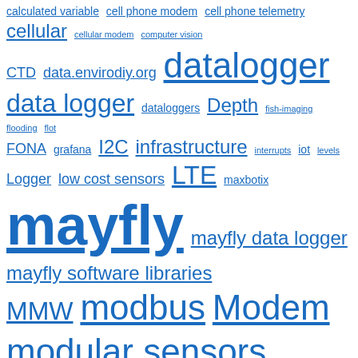[Figure (infographic): Tag cloud with terms related to environmental data logging, sensors, and monitoring. Terms vary in size based on frequency/importance. All terms are in blue and underlined. Largest terms include: mayfly, my watershed, monitor, modular sensors, ModularSensors, Modem, modbus, SDI-12. Medium terms include: datalogger, data logger, cellular, LTE, infrastructure, I2C, low cost sensors, MMW, mayfly data logger, mayfly software libraries, RS485, sensors. Smaller terms include: calculated variable, cell phone modem, cell phone telemetry, cellular modem, computer vision, CTD, data.envirodiy.org, dataloggers, Depth, fish-imaging, flooding, flot, FONA, grafana, interrupts, iot, levels, Logger, maxbotix, multiplex, Nitrate, monitoring, nitrate testing, Photon, PlatformIO, power supply, public-lab, RTC, sensor, sleep, software.]